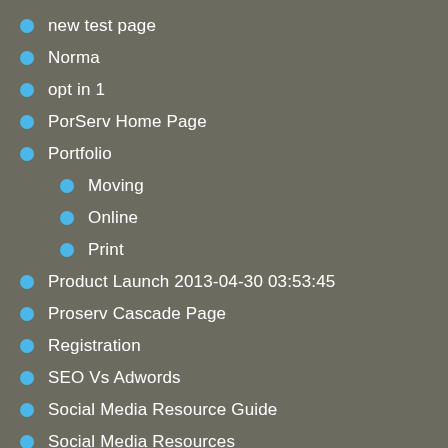new test page
Norma
opt in 1
PorServ Home Page
Portfolio
Moving
Online
Print
Product Launch 2013-04-30 03:53:45
Proserv Cascade Page
Registration
SEO Vs Adwords
Social Media Resource Guide
Social Media Resources
Speakers